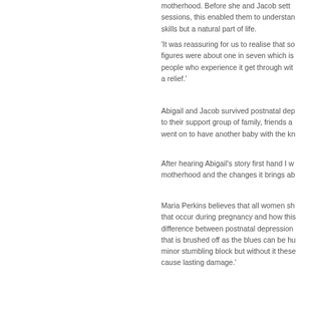motherhood. Before she and Jacob sett sessions, this enabled them to understan skills but a natural part of life.
'It was reassuring for us to realise that so figures were about one in seven which is people who experience it get through wit a relief.'
Abigail and Jacob survived postnatal dep to their support group of family, friends a went on to have another baby with the kn
After hearing Abigail's story first hand I w motherhood and the changes it brings ab
Maria Perkins believes that all women sh that occur during pregnancy and how this difference between postnatal depression that is brushed off as the blues can be hu minor stumbling block but without it these cause lasting damage.'